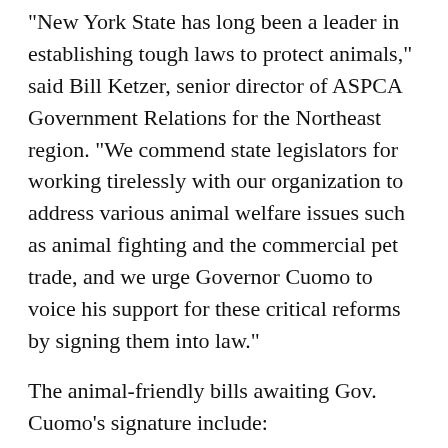"New York State has long been a leader in establishing tough laws to protect animals," said Bill Ketzer, senior director of ASPCA Government Relations for the Northeast region. "We commend state legislators for working tirelessly with our organization to address various animal welfare issues such as animal fighting and the commercial pet trade, and we urge Governor Cuomo to voice his support for these critical reforms by signing them into law."
The animal-friendly bills awaiting Gov. Cuomo's signature include:
Animal Fighting (A.9552-A/S.6774-A): Sponsored by Sen. Patty Ritchie (R-Heuvelton) and Assemblymember John McEneny (D-Albany), this measure will